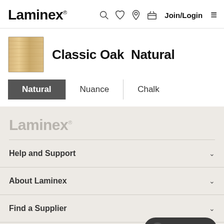Laminex — Join/Login
Classic Oak Natural
Natural
Nuance
Chalk
Laminex
Help and Support
About Laminex
Find a Supplier
Sample Ordering
Chat offline